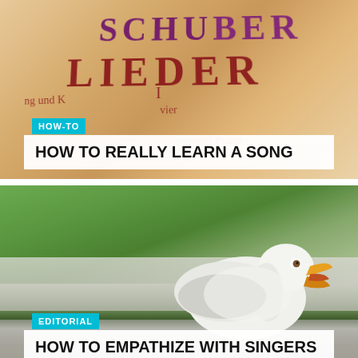[Figure (photo): Angled shot of sheet music cover with 'LIEDER' text in dark red and partial purple text above it on a warm beige/tan background, resembling a Schubert Lieder music score]
HOW-TO
HOW TO REALLY LEARN A SONG
[Figure (photo): Close-up photo of a seagull with open beak/mouth, white and grey bird with yellow-orange bill, against a blurred green and grey bokeh background]
EDITORIAL
HOW TO EMPATHIZE WITH SINGERS